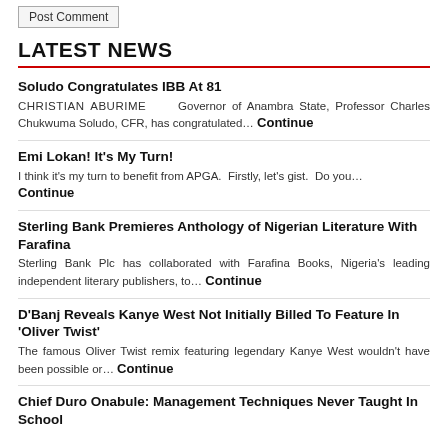Post Comment
LATEST NEWS
Soludo Congratulates IBB At 81
CHRISTIAN ABURIME   Governor of Anambra State, Professor Charles Chukwuma Soludo, CFR, has congratulated... Continue
Emi Lokan! It's My Turn!
I think it's my turn to benefit from APGA. Firstly, let's gist. Do you... Continue
Sterling Bank Premieres Anthology of Nigerian Literature With Farafina
Sterling Bank Plc has collaborated with Farafina Books, Nigeria's leading independent literary publishers, to... Continue
D'Banj Reveals Kanye West Not Initially Billed To Feature In 'Oliver Twist'
The famous Oliver Twist remix featuring legendary Kanye West wouldn't have been possible or... Continue
Chief Duro Onabule: Management Techniques Never Taught In School